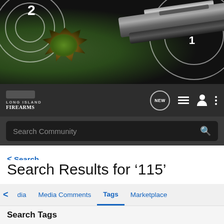[Figure (photo): Hero image showing a shooting target with bullet holes and a gun barrel/rifle, dark background with white target rings and numbers]
Long Island Firearms — navigation bar with logo, NEW chat bubble, list icon, person icon, and more menu
Search Community
< Search
Search Results for ‘115’
dia   Media Comments   Tags   Marketplace
Search Tags
x 115
Search